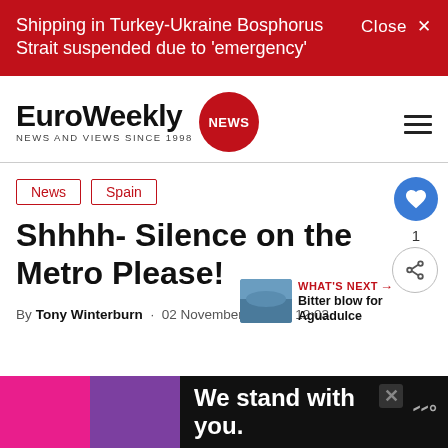Shipping in Turkey-Ukraine Bosphorus Strait suspended due to 'emergency'
[Figure (logo): EuroWeekly NEWS logo with red circular badge]
News
Spain
Shhhh- Silence on the Metro Please!
By Tony Winterburn · 02 November 2020 · 12:03
WHAT'S NEXT → Bitter blow for Aguadulce
We stand with you.